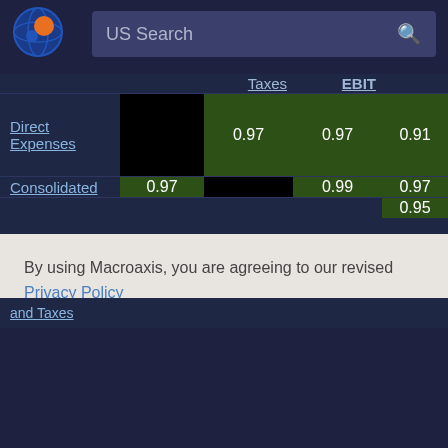[Figure (logo): Macroaxis globe logo with orange and blue coloring]
US Search
|  | Taxes | EBIT |
| --- | --- | --- |
| Direct Expenses | 0.97 | 0.97 | 0.91 |
| Consolidated | 0.97 |  | 0.99 | 0.97 |
By using Macroaxis, you are agreeing to our revised Privacy Policy
OK
and Taxes